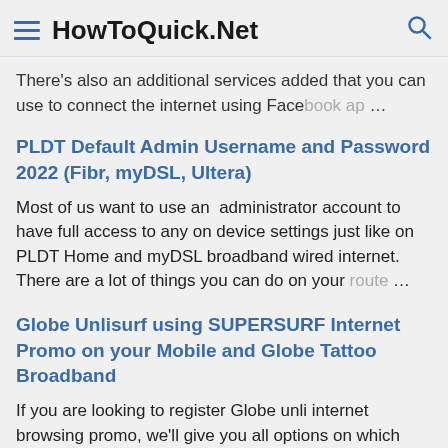HowToQuick.Net
There's also an additional services added that you can use to connect the internet using Facebook ap …
PLDT Default Admin Username and Password 2022 (Fibr, myDSL, Ultera)
Most of us want to use an  administrator account to have full access to any on device settings just like on PLDT Home and myDSL broadband wired internet. There are a lot of things you can do on your route …
Globe Unlisurf using SUPERSURF Internet Promo on your Mobile and Globe Tattoo Broadband
If you are looking to register Globe unli internet browsing promo, we'll give you all options on which promo your budget fits. Globe browsing promo can